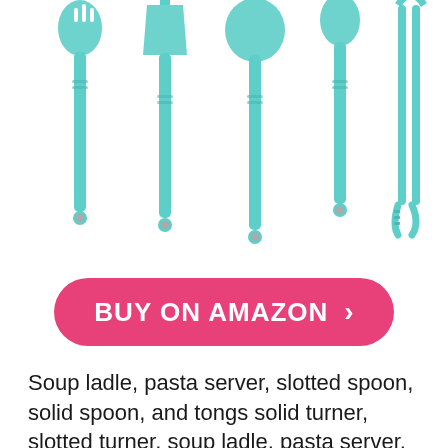[Figure (photo): Teal/mint colored kitchen utensil set including slotted spoon, spatulas/turners, solid spoon, ladle, pasta server, and tongs laid out on white background]
BUY ON AMAZON ›
Soup ladle, pasta server, slotted spoon, solid spoon, and tongs solid turner, slotted turner, soup ladle, pasta server, slotted spoon, solid spoon, and tongs. GreenLife accessories are